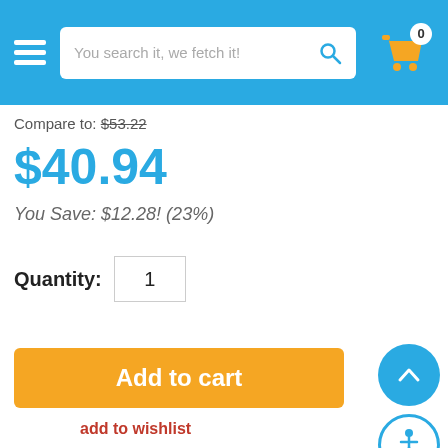[Figure (screenshot): E-commerce website header with hamburger menu, search bar saying 'You search it, we fetch it!', search icon, and shopping cart icon with badge showing 0]
Compare to: $53.22
$40.94
You Save: $12.28!  (23%)
Quantity: 1
Add to cart
add to wishlist
Share